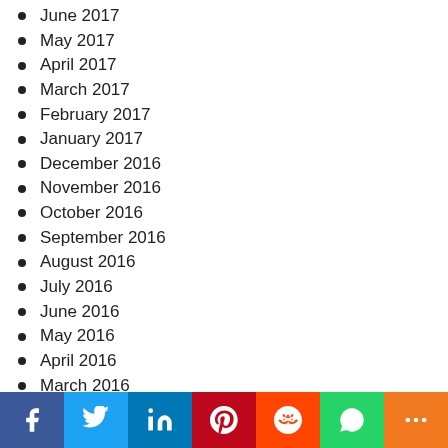June 2017
May 2017
April 2017
March 2017
February 2017
January 2017
December 2016
November 2016
October 2016
September 2016
August 2016
July 2016
June 2016
May 2016
April 2016
March 2016
February 2016
January 2016
December 2015
November 2015
Social share bar: Facebook, Twitter, LinkedIn, Pinterest, Reddit, WhatsApp, More